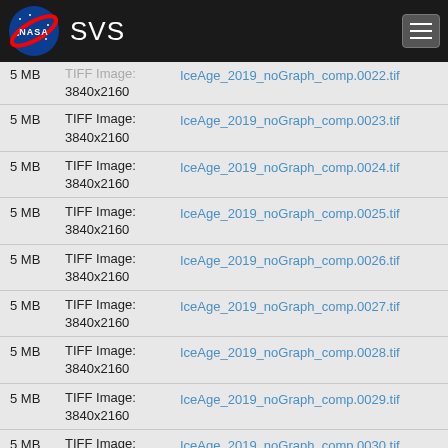NASA SVS
5 MB | TIFF Image: 3840x2160 | IceAge_2019_noGraph_comp.0022.tif
5 MB | TIFF Image: 3840x2160 | IceAge_2019_noGraph_comp.0023.tif
5 MB | TIFF Image: 3840x2160 | IceAge_2019_noGraph_comp.0024.tif
5 MB | TIFF Image: 3840x2160 | IceAge_2019_noGraph_comp.0025.tif
5 MB | TIFF Image: 3840x2160 | IceAge_2019_noGraph_comp.0026.tif
5 MB | TIFF Image: 3840x2160 | IceAge_2019_noGraph_comp.0027.tif
5 MB | TIFF Image: 3840x2160 | IceAge_2019_noGraph_comp.0028.tif
5 MB | TIFF Image: 3840x2160 | IceAge_2019_noGraph_comp.0029.tif
5 MB | TIFF Image: 3840x2160 | IceAge_2019_noGraph_comp.0030.tif
5 MB | TIFF Image: 3840x2160 | IceAge_2019_noGraph_comp.0031.tif